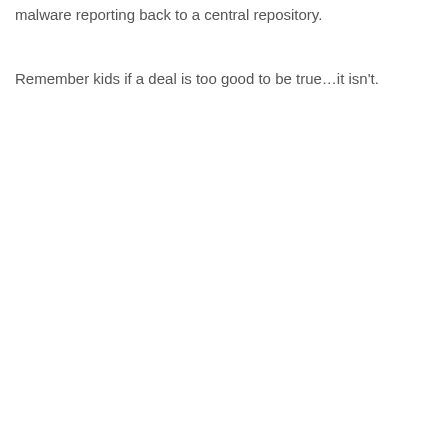malware reporting back to a central repository.
Remember kids if a deal is too good to be true…it isn't.